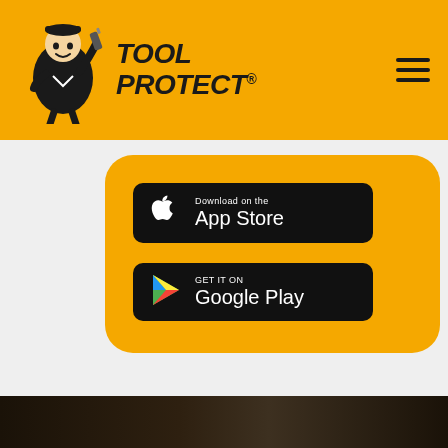[Figure (logo): Tool Protect logo with mascot figure holding a drill and bold italic text TOOL PROTECT]
[Figure (screenshot): Download on the App Store button (black rounded rectangle with Apple logo)]
[Figure (screenshot): GET IT ON Google Play button (black rounded rectangle with Google Play triangle logo)]
[Figure (photo): Dark wood/workshop background photo visible at bottom of page]